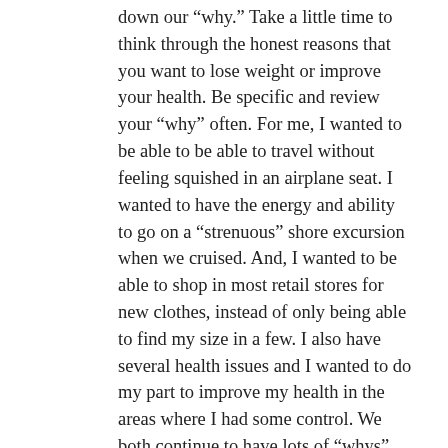down our “why.” Take a little time to think through the honest reasons that you want to lose weight or improve your health. Be specific and review your “why” often. For me, I wanted to be able to be able to travel without feeling squished in an airplane seat. I wanted to have the energy and ability to go on a “strenuous” shore excursion when we cruised. And, I wanted to be able to shop in most retail stores for new clothes, instead of only being able to find my size in a few. I also have several health issues and I wanted to do my part to improve my health in the areas where I had some control. We both continue to have lots of “whys” and we refer to them often. This helps us remember why we’re eating more fruits and vegetables, moving our bodies more, and making time for self-care. Hope this helps you. If you’re comfortable sharing, what is your “why?”